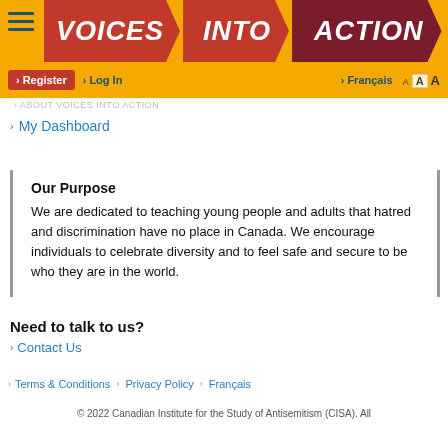VOICES INTO ACTION
Register  Log In  Français  A A A
ABOUT Voices Into Action
My Dashboard
Our Purpose
We are dedicated to teaching young people and adults that hatred and discrimination have no place in Canada. We encourage individuals to celebrate diversity and to feel safe and secure to be who they are in the world.
Need to talk to us?
Contact Us
Terms & Conditions  Privacy Policy  Français
© 2022 Canadian Institute for the Study of Antisemitism (CISA). All rights reserved.